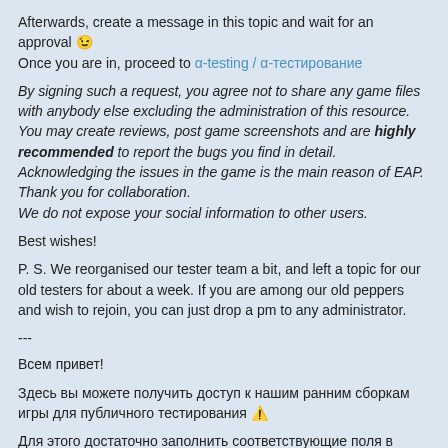Afterwards, create a message in this topic and wait for an approval 😉 Once you are in, proceed to α-testing / α-тестирование
By signing such a request, you agree not to share any game files with anybody else excluding the administration of this resource. You may create reviews, post game screenshots and are highly recommended to report the bugs you find in detail. Acknowledging the issues in the game is the main reason of EAP. Thank you for collaboration.
We do not expose your social information to other users.
Best wishes!
P. S. We reorganised our tester team a bit, and left a topic for our old testers for about a week. If you are among our old peppers and wish to rejoin, you can just drop a pm to any administrator.
---
Всем привет!
Здесь вы можете получить доступ к нашим ранним сборкам игры для публичного тестирования ⚠️
Для этого достаточно заполнить соответствующие поля в профиле: